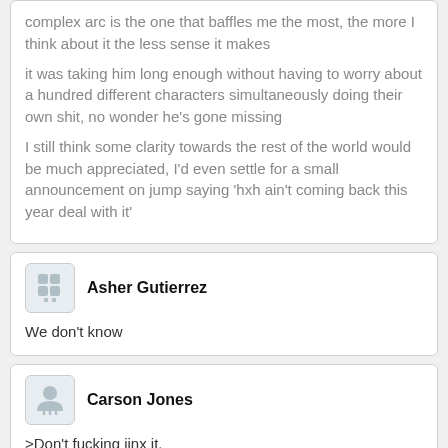complex arc is the one that baffles me the most, the more I think about it the less sense it makes

it was taking him long enough without having to worry about a hundred different characters simultaneously doing their own shit, no wonder he's gone missing

I still think some clarity towards the rest of the world would be much appreciated, I'd even settle for a small announcement on jump saying 'hxh ain't coming back this year deal with it'
Asher Gutierrez
We don't know
Carson Jones
>Don't fucking jinx it.
There's no way hiatus x hiatus would ever end, it's author will just die.